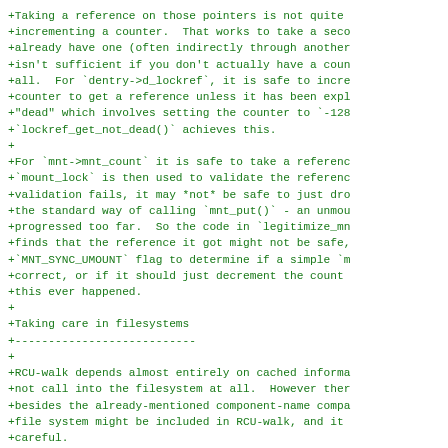+Taking a reference on those pointers is not quite
+incrementing a counter.  That works to take a seco
+already have one (often indirectly through another
+isn't sufficient if you don't actually have a coun
+all.  For `dentry->d_lockref`, it is safe to incre
+counter to get a reference unless it has been expl
+"dead" which involves setting the counter to `-128
+`lockref_get_not_dead()` achieves this.
+
+For `mnt->mnt_count` it is safe to take a referenc
+`mount_lock` is then used to validate the referenc
+validation fails, it may *not* be safe to just dro
+the standard way of calling `mnt_put()` - an unmou
+progressed too far.  So the code in `legitimize_mn
+finds that the reference it got might not be safe,
+`MNT_SYNC_UMOUNT` flag to determine if a simple `m
+correct, or if it should just decrement the count
+this ever happened.
+
+Taking care in filesystems
+---------------------------
+
+RCU-walk depends almost entirely on cached informa
+not call into the filesystem at all.  However ther
+besides the already-mentioned component-name compa
+file system might be included in RCU-walk, and it
+careful.
+
+If the filesystem has non-standard permission-chec
+such as a networked filesystem which may need to